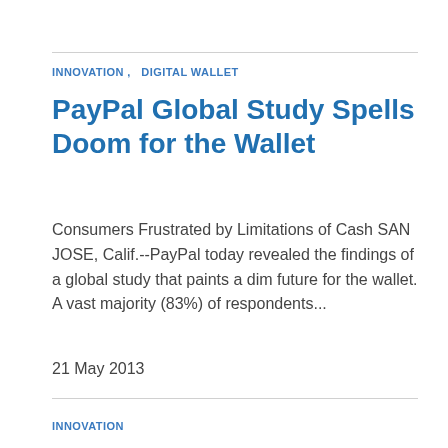INNOVATION ,   DIGITAL WALLET
PayPal Global Study Spells Doom for the Wallet
Consumers Frustrated by Limitations of Cash SAN JOSE, Calif.--PayPal today revealed the findings of a global study that paints a dim future for the wallet. A vast majority (83%) of respondents...
21 May 2013
INNOVATION